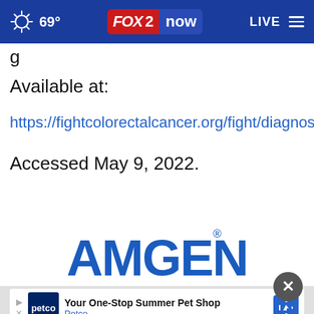69° FOX 2 now LIVE
g
Available at:
https://fightcolorectalcancer.org/fight/diagnosis/.
Accessed May 9, 2022.
[Figure (logo): Amgen logo in blue text]
[Figure (logo): Petco advertisement banner: Your One-Stop Summer Pet Shop - Petco]